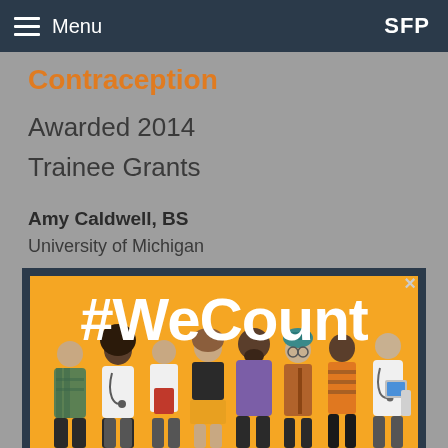Menu  SFP
Contraception
Awarded 2014
Trainee Grants
Amy Caldwell, BS
University of Michigan
[Figure (illustration): A #WeCount branded image with large white bold text '#WeCount' on an orange background, with diverse illustrated people standing as a group including doctors, students, and other individuals.]